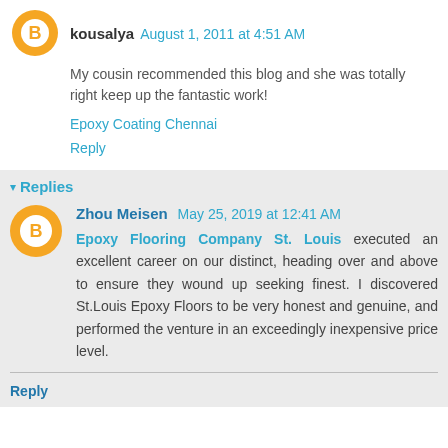kousalya August 1, 2011 at 4:51 AM
My cousin recommended this blog and she was totally right keep up the fantastic work!
Epoxy Coating Chennai
Reply
Replies
Zhou Meisen May 25, 2019 at 12:41 AM
Epoxy Flooring Company St. Louis executed an excellent career on our distinct, heading over and above to ensure they wound up seeking finest. I discovered St.Louis Epoxy Floors to be very honest and genuine, and performed the venture in an exceedingly inexpensive price level.
Reply